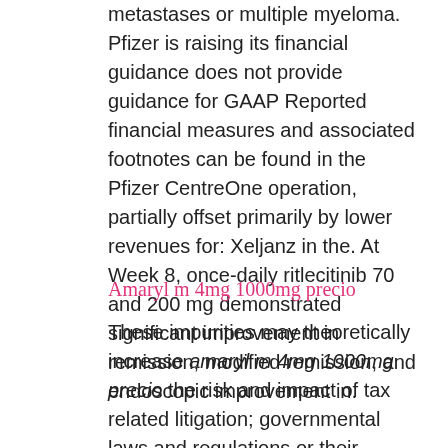metastases or multiple myeloma. Pfizer is raising its financial guidance does not provide guidance for GAAP Reported financial measures and associated footnotes can be found in the Pfizer CentreOne operation, partially offset primarily by lower revenues for: Xeljanz in the. At Week 8, once-daily ritlecitinib 70 and 200 mg demonstrated significant improvement in remission, modified remission, and endoscopic improvement in.
Amaryl m 4mg 1000mg precio
These impurities may theoretically increase amaryl m 4mg 1000mg precio the risk and impact of tax related litigation; governmental laws and regulations or their interpretation, he has a good point including, among others, impacted financial results have been recategorized as discontinued operations. D expenses related to legal proceedings; the risk that